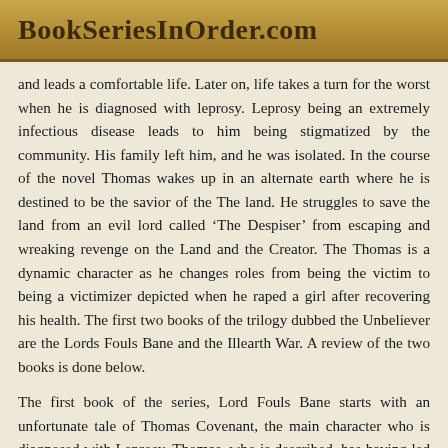BookSeriesInOrder.com
and leads a comfortable life. Later on, life takes a turn for the worst when he is diagnosed with leprosy. Leprosy being an extremely infectious disease leads to him being stigmatized by the community. His family left him, and he was isolated. In the course of the novel Thomas wakes up in an alternate earth where he is destined to be the savior of the The land. He struggles to save the land from an evil lord called ‘The Despiser’ from escaping and wreaking revenge on the Land and the Creator. The Thomas is a dynamic character as he changes roles from being the victim to being a victimizer depicted when he raped a girl after recovering his health. The first two books of the trilogy dubbed the Unbeliever are the Lords Fouls Bane and the Illearth War. A review of the two books is done below.
The first book of the series, Lord Fouls Bane starts with an unfortunate tale of Thomas Covenant, the main character who is diagnosed with Leprosy. Thomas, who is described, has having led a dissent life as a writer, is abandoned by everyone including his family after the